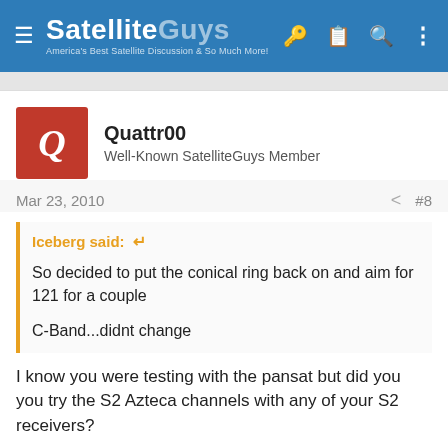SatelliteGuys — America's Best Satellite Discussion & So Much More!
Quattr00
Well-Known SatelliteGuys Member
Mar 23, 2010   #8
Iceberg said:
So decided to put the conical ring back on and aim for 121 for a couple

C-Band...didnt change
I know you were testing with the pansat but did you try the S2 Azteca channels with any of your S2 receivers?